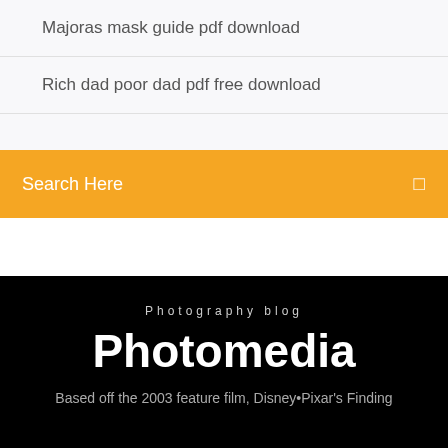Majoras mask guide pdf download
Rich dad poor dad pdf free download
Search Here
Photomedia
Photography blog
Based off the 2003 feature film, Disney•Pixar's Finding